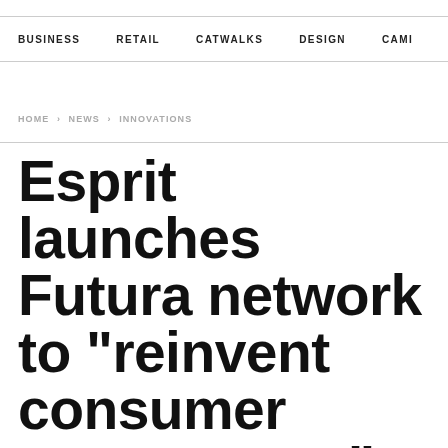BUSINESS   RETAIL   CATWALKS   DESIGN   CAMI >
HOME › NEWS › INNOVATIONS
Esprit launches Futura network to "reinvent consumer engagement"